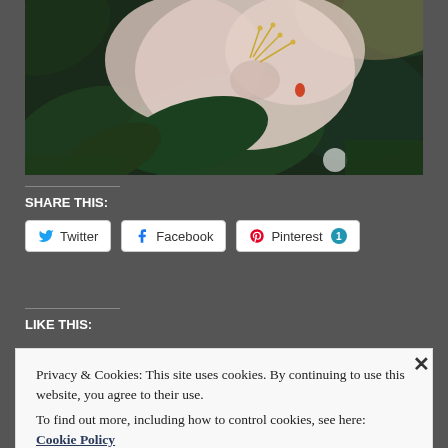[Figure (photo): Close-up photograph of a pale pink flower (rhododendron or similar) with green leaves in the background, taken in sunlight.]
SHARE THIS:
Twitter  Facebook  Pinterest 1
LIKE THIS:
Privacy & Cookies: This site uses cookies. By continuing to use this website, you agree to their use.
To find out more, including how to control cookies, see here:
Cookie Policy
Close and accept